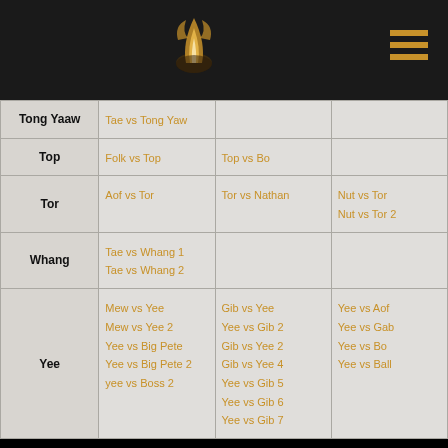Header with logo and hamburger menu
|  | Col1 | Col2 | Col3 |
| --- | --- | --- | --- |
| Tong Yaaw | Tae vs Tong Yaw |  |  |
| Top | Folk vs Top | Top vs Bo |  |
| Tor | Aof vs Tor | Tor vs Nathan | Nut vs Tor
Nut vs Tor 2 |
| Whang | Tae vs Whang 1
Tae vs Whang 2 |  |  |
| Yee | Mew vs Yee
Mew vs Yee 2
Yee vs Big Pete
Yee vs Big Pete 2
yee vs Boss 2 | Gib vs Yee
Yee vs Gib 2
Gib vs Yee 2
Gib vs Yee 4
Yee vs Gib 5
Yee vs Gib 6
Yee vs Gib 7 | Yee vs Aof
Yee vs Gab
Yee vs Bo
Yee vs Ball |